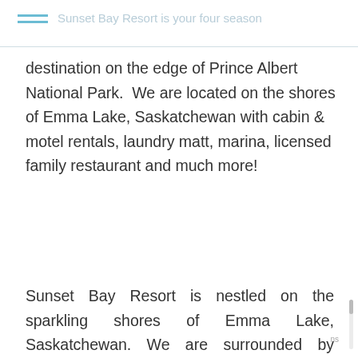Sunset Bay Resort is your four season
destination on the edge of Prince Albert National Park.  We are located on the shores of Emma Lake, Saskatchewan with cabin & motel rentals, laundry matt, marina, licensed family restaurant and much more!
Sunset Bay Resort is nestled on the sparkling shores of Emma Lake, Saskatchewan. We are surrounded by gorgeous sand beaches, pristine